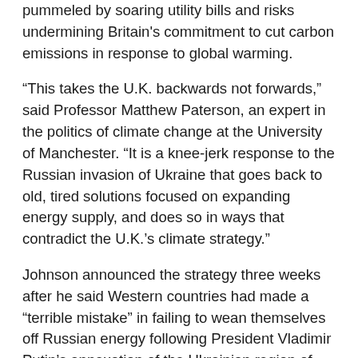pummeled by soaring utility bills and risks undermining Britain's commitment to cut carbon emissions in response to global warming.
“This takes the U.K. backwards not forwards,” said Professor Matthew Paterson, an expert in the politics of climate change at the University of Manchester. “It is a knee-jerk response to the Russian invasion of Ukraine that goes back to old, tired solutions focused on expanding energy supply, and does so in ways that contradict the U.K.’s climate strategy.”
Johnson announced the strategy three weeks after he said Western countries had made a “terrible mistake” in failing to wean themselves off Russian energy following President Vladimir Putin’s annexation of the Ukrainian region of Crimea eight years ago. That emboldened Putin to invade Ukraine in February and left Europe vulnerable to “blackmail” amid Russian threats to cut off energy supplies,